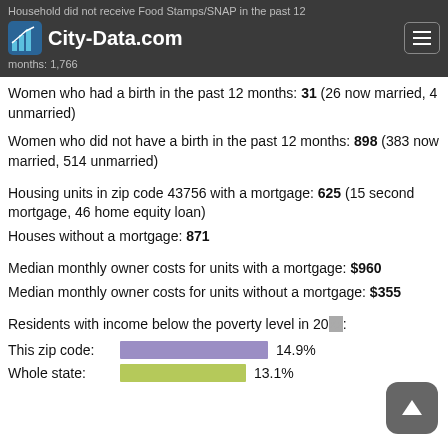City-Data.com — Household did not receive Food Stamps/SNAP in the past 12 months: 1,766
Women who had a birth in the past 12 months: 31 (26 now married, 4 unmarried)
Women who did not have a birth in the past 12 months: 898 (383 now married, 514 unmarried)
Housing units in zip code 43756 with a mortgage: 625 (15 second mortgage, 46 home equity loan)
Houses without a mortgage: 871
Median monthly owner costs for units with a mortgage: $960
Median monthly owner costs for units without a mortgage: $355
Residents with income below the poverty level in 20[xx]:
[Figure (bar-chart): Residents with income below the poverty level]